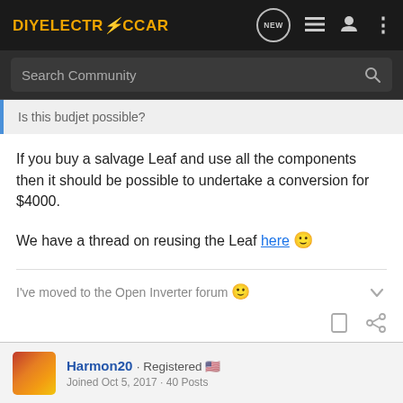DIYELECTRICCAR
Search Community
Is this budjet possible?
If you buy a salvage Leaf and use all the components then it should be possible to undertake a conversion for $4000.
We have a thread on reusing the Leaf here 🙂
I've moved to the Open Inverter forum 🙂
Harmon20 · Registered 🇺🇸
Joined Oct 5, 2017 · 40 Posts